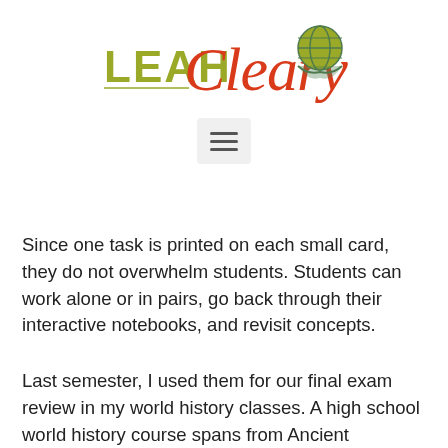[Figure (logo): Leah Cleary logo with stylized red cursive 'Cleary' text, olive-yellow 'LEAH' text, and a globe with book illustration]
[Figure (other): Hamburger menu button (three horizontal lines) on a light grey rounded rectangle background]
Since one task is printed on each small card, they do not overwhelm students. Students can work alone or in pairs, go back through their interactive notebooks, and revisit concepts.
Last semester, I used them for our final exam review in my world history classes. A high school world history course spans from Ancient civilizations to the present day, so a final exam encompasses a lot of